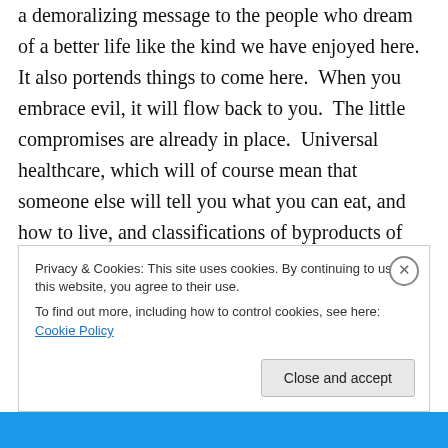a demoralizing message to the people who dream of a better life like the kind we have enjoyed here.  It also portends things to come here.  When you embrace evil, it will flow back to you.  The little compromises are already in place.  Universal healthcare, which will of course mean that someone else will tell you what you can eat, and how to live, and classifications of byproducts of natural biological processes as pollutants, and imposing a ridiculous cap and trade scheme, and increasing intrusions into your personal life, all for your own good, means that he really doesn't think that there is much
Privacy & Cookies: This site uses cookies. By continuing to use this website, you agree to their use.
To find out more, including how to control cookies, see here: Cookie Policy
Close and accept